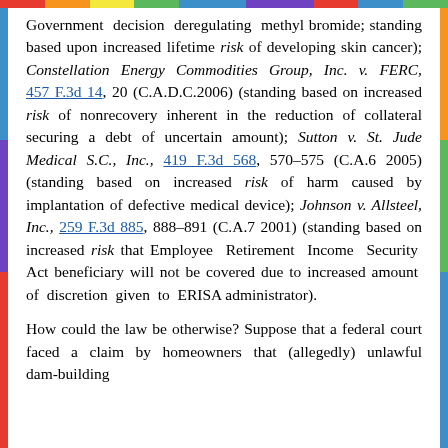Government decision deregulating methyl bromide; standing based upon increased lifetime risk of developing skin cancer); Constellation Energy Commodities Group, Inc. v. FERC, 457 F.3d 14, 20 (C.A.D.C.2006) (standing based on increased risk of nonrecovery inherent in the reduction of collateral securing a debt of uncertain amount); Sutton v. St. Jude Medical S.C., Inc., 419 F.3d 568, 570–575 (C.A.6 2005) (standing based on increased risk of harm caused by implantation of defective medical device); Johnson v. Allsteel, Inc., 259 F.3d 885, 888–891 (C.A.7 2001) (standing based on increased risk that Employee Retirement Income Security Act beneficiary will not be covered due to increased amount of discretion given to ERISA administrator).
How could the law be otherwise? Suppose that a federal court faced a claim by homeowners that (allegedly) unlawful dam-building